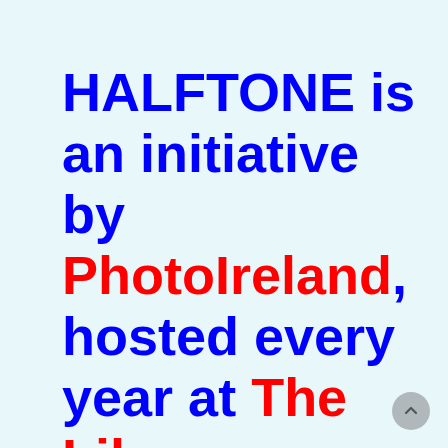HALFTONE is an initiative by PhotoIreland, hosted every year at The Library Project. Running for a month in this 5th edition, the fair brings together a large selection of works by established and